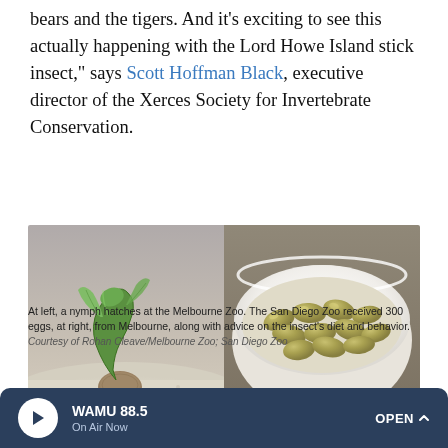bears and the tigers. And it's exciting to see this actually happening with the Lord Howe Island stick insect," says Scott Hoffman Black, executive director of the Xerces Society for Invertebrate Conservation.
[Figure (photo): Two photos side by side: At left, a green nymph hatching at the Melbourne Zoo on sandy substrate. At right, a white bowl containing multiple olive-green eggs from the Lord Howe Island stick insect on sandy substrate.]
At left, a nymph hatches at the Melbourne Zoo. The San Diego Zoo received 300 eggs, at right, from Melbourne, along with advice on the insect's diet and behavior.
Courtesy of Rohan Cleave/Melbourne Zoo; San Diego Zoo
WAMU 88.5 On Air Now OPEN ^